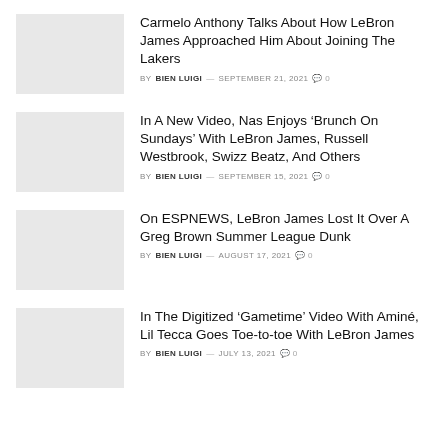Carmelo Anthony Talks About How LeBron James Approached Him About Joining The Lakers — BY BIEN LUIGI — SEPTEMBER 21, 2021 — 0 comments
In A New Video, Nas Enjoys ‘Brunch On Sundays’ With LeBron James, Russell Westbrook, Swizz Beatz, And Others — BY BIEN LUIGI — SEPTEMBER 15, 2021 — 0 comments
On ESPNEWS, LeBron James Lost It Over A Greg Brown Summer League Dunk — BY BIEN LUIGI — AUGUST 17, 2021 — 0 comments
In The Digitized ‘Gametime’ Video With Aminé, Lil Tecca Goes Toe-to-toe With LeBron James — BY BIEN LUIGI — JULY 13, 2021 — 0 comments